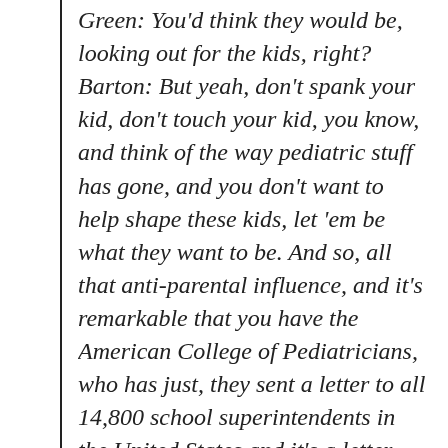Green: You'd think they would be, looking out for the kids, right? Barton: But yeah, don't spank your kid, don't touch your kid, you know, and think of the way pediatric stuff has gone, and you don't want to help shape these kids, let 'em be what they want to be. And so, all that anti-parental influence, and it's remarkable that you have the American College of Pediatricians, who has just, they sent a letter to all 14,800 school superintendents in the United States and it's a letter warning about what's happening in the schools and the American College of Pediatricians is cautioning educators about what they